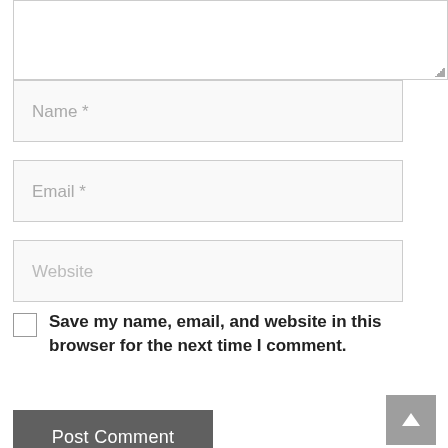[Figure (screenshot): Partial textarea input field at top of page with resize handle]
Name *
Email *
Website
Save my name, email, and website in this browser for the next time I comment.
Post Comment
[Figure (screenshot): Scroll to top button (grey chevron up arrow)]
How to watch Saturday's BMW Championship: Round 2 TV schedule